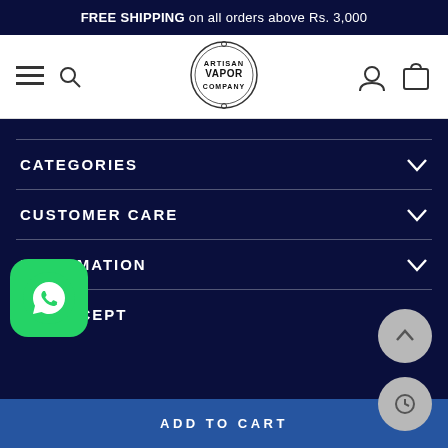FREE SHIPPING on all orders above Rs. 3,000
[Figure (logo): Artisan Vapor Company circular badge logo with ornamental border]
CATEGORIES
CUSTOMER CARE
INFORMATION
WE ACCEPT
ADD TO CART